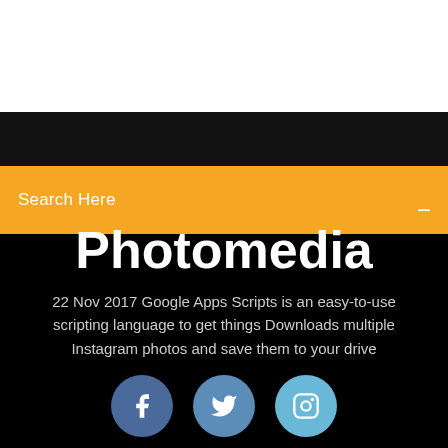[Figure (screenshot): White header section at top of webpage]
Search Here
Photomedia
22 Nov 2017 Google Apps Scripts is an easy-to-use scripting language to get things Downloads multiple Instagram photos and save them to your drive
[Figure (illustration): Three social media icons: Facebook (dark blue circle), Twitter (medium blue circle), Instagram (light blue circle)]